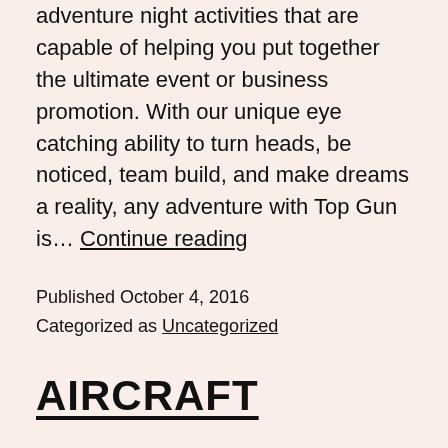adventure night activities that are capable of helping you put together the ultimate event or business promotion. With our unique eye catching ability to turn heads, be noticed, team build, and make dreams a reality, any adventure with Top Gun is… Continue reading
Published October 4, 2016
Categorized as Uncategorized
AIRCRAFT
The BAC Jet Provost British jet trainer used by the Royal Air Force, from 1955 to 1993, proved